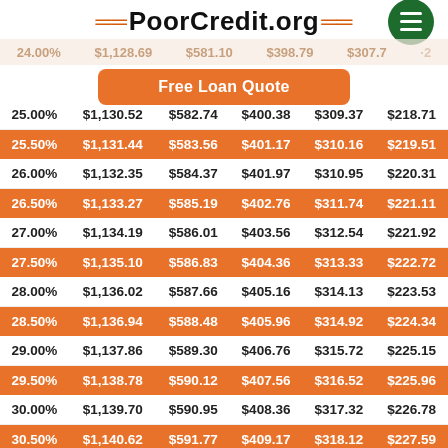PoorCredit.org
Free Loan Quote
| Rate | 12 mo | 24 mo | 36 mo | 48 mo | 60 mo |
| --- | --- | --- | --- | --- | --- |
| 25.00% | $1,130.52 | $582.74 | $400.38 | $309.37 | $218.71 |
| 25.50% | $1,131.44 | $583.56 | $401.17 | $310.16 | $219.51 |
| 26.00% | $1,132.35 | $584.37 | $401.97 | $310.95 | $220.31 |
| 26.50% | $1,133.27 | $585.19 | $402.76 | $311.74 | $221.11 |
| 27.00% | $1,134.19 | $586.01 | $403.56 | $312.54 | $221.92 |
| 27.50% | $1,135.10 | $586.83 | $404.36 | $313.33 | $222.72 |
| 28.00% | $1,136.02 | $587.66 | $405.16 | $314.13 | $223.53 |
| 28.50% | $1,136.94 | $588.48 | $405.96 | $314.92 | $224.34 |
| 29.00% | $1,137.86 | $589.30 | $406.76 | $315.72 | $225.15 |
| 29.50% | $1,138.78 | $590.12 | $407.56 | $316.52 | $225.96 |
| 30.00% | $1,139.70 | $590.95 | $408.36 | $317.32 | $226.78 |
| 30.50% | $1,140.62 | $591.77 | $409.17 | $318.12 | $227.59 |